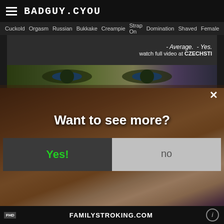BADGUY.CYOU
Cuckold  Orgasm  Russian  Bukkake  Creampie  Strap On  Domination  Shaved  Female
[Figure (screenshot): Ad banner with text: - Average. - Yes. watch full video at CZECHSTI]
[Figure (screenshot): Video content background with modal overlay. Modal shows 'Want to see more?' with Yes! and no buttons. Bottom bar shows FAMILYSTROKING.COM]
Want to see more?
Yes!
no
FAMILYSTROKING.COM